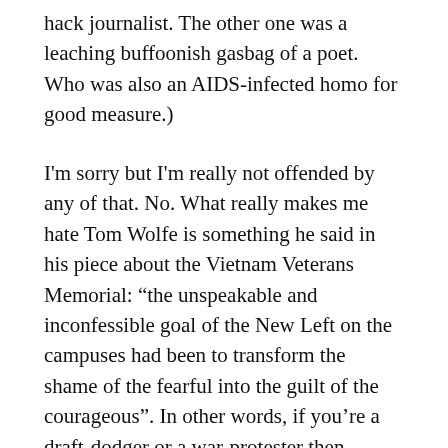hack journalist. The other one was a leaching buffoonish gasbag of a poet. Who was also an AIDS-infected homo for good measure.)
I'm sorry but I'm really not offended by any of that. No. What really makes me hate Tom Wolfe is something he said in his piece about the Vietnam Veterans Memorial: “the unspeakable and inconfessible goal of the New Left on the campuses had been to transform the shame of the fearful into the guilt of the courageous”. In other words, if you’re a draft-dodger or a war-protester then you’re a cowardly faggot. This is Tom Wolfe’s way of ingratiating himself with the patriotic German shithead who stabbed Monica Seles for the greater glory of Steffi Graf’s Thousand-Year Reich. And notice how Wolfe smears the epithet “New Left” on